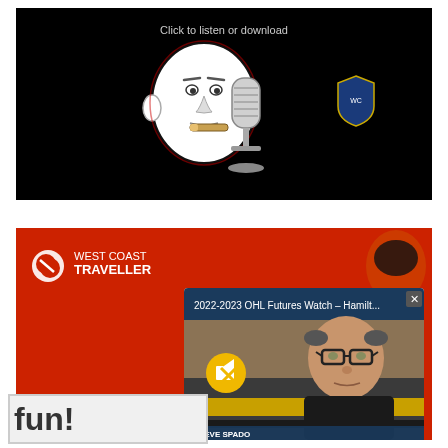[Figure (screenshot): A podcast player screenshot with black background showing a cartoon bald man with a cigar and a vintage microphone, with text 'Click to listen or download' at the top, and a small shield logo on the right side.]
[Figure (screenshot): A West Coast Traveller branded red banner with logo, overlaid by a video popup titled '2022-2023 OHL Futures Watch - Hamilt...' showing a man with glasses identified as Steve Spado (General Manager) with a mute icon, against a Hamilton Bulldogs hockey team background. Below left is a partial text banner reading 'fun!']